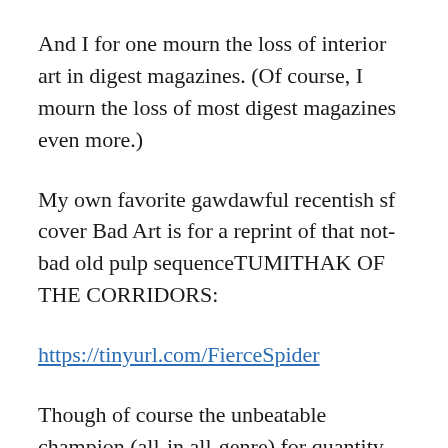And I for one mourn the loss of interior art in digest magazines. (Of course, I mourn the loss of most digest magazines even more.)
My own favorite gawdawful recentish sf cover Bad Art is for a reprint of that not-bad old pulp sequenceTUMITHAK OF THE CORRIDORS:
https://tinyurl.com/FierceSpider
Though of course the unbeatable champion (all-in all-genre) for quantity here is Tutis:
http://causticcovercritic.blogspot.com.au/search/label/Tutis%20bashing